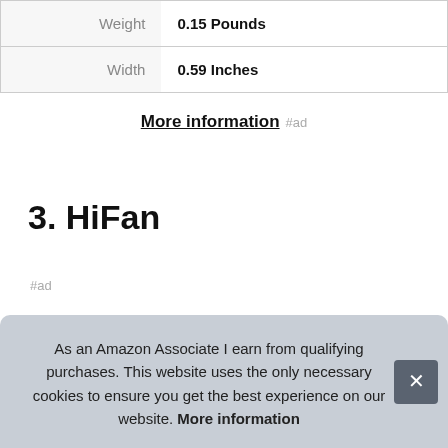| Weight | 0.15 Pounds |
| Width | 0.59 Inches |
More information #ad
3. HiFan
#ad
As an Amazon Associate I earn from qualifying purchases. This website uses the only necessary cookies to ensure you get the best experience on our website. More information